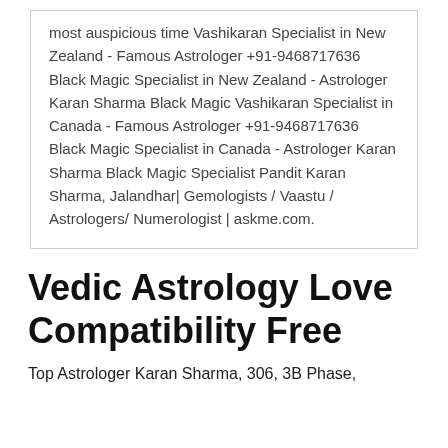most auspicious time  Vashikaran Specialist in New Zealand - Famous Astrologer +91-9468717636 Black Magic Specialist in New Zealand - Astrologer Karan Sharma Black Magic  Vashikaran Specialist in Canada - Famous Astrologer +91-9468717636 Black Magic Specialist in Canada - Astrologer Karan Sharma Black Magic Specialist  Pandit Karan Sharma, Jalandhar| Gemologists / Vaastu / Astrologers/ Numerologist | askme.com.
Vedic Astrology Love Compatibility Free
Top Astrologer Karan Sharma, 306, 3B Phase,